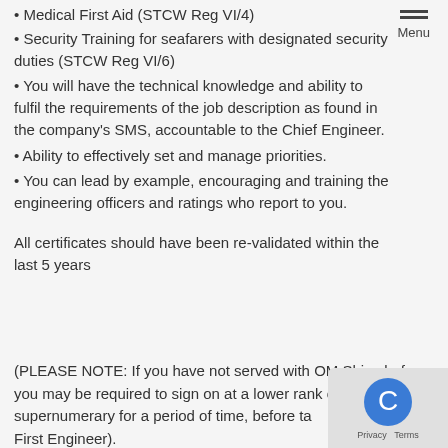• Medical First Aid (STCW Reg VI/4)
• Security Training for seafarers with designated security duties (STCW Reg VI/6)
• You will have the technical knowledge and ability to fulfil the requirements of the job description as found in the company's SMS, accountable to the Chief Engineer.
• Ability to effectively set and manage priorities.
• You can lead by example, encouraging and training the engineering officers and ratings who report to you.
All certificates should have been re-validated within the last 5 years
(PLEASE NOTE: If you have not served with OM Ships before, you may be required to sign on at a lower rank or supernumerary for a period of time, before taking the position of First Engineer).